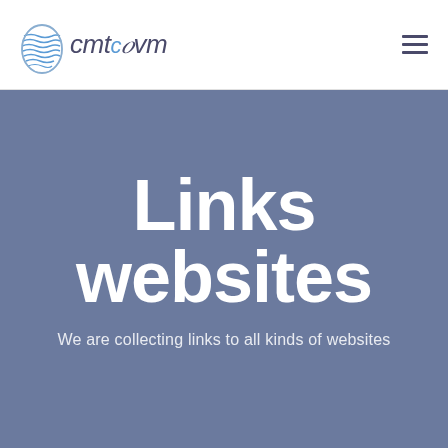[Figure (logo): CMTcovm website logo with blue globe/swirl icon and italic text 'cmtcovm']
Links websites
We are collecting links to all kinds of websites